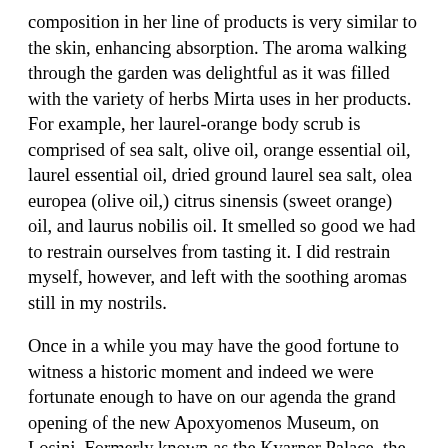composition in her line of products is very similar to the skin, enhancing absorption. The aroma walking through the garden was delightful as it was filled with the variety of herbs Mirta uses in her products. For example, her laurel-orange body scrub is comprised of sea salt, olive oil, orange essential oil, laurel essential oil, dried ground laurel sea salt, olea europea (olive oil,) citrus sinensis (sweet orange) oil, and laurus nobilis oil. It smelled so good we had to restrain ourselves from tasting it. I did restrain myself, however, and left with the soothing aromas still in my nostrils.
Once in a while you may have the good fortune to witness a historic moment and indeed we were fortunate enough to have on our agenda the grand opening of the new Apoxyomenos Museum, on Losinj. Formerly known as the Kvarner Palace, the rebuilt state-of- the-art museum is the permanent place for an ancient statue of a Greek athlete discovered by Rene Wouters, a Belgium tourist who was diving in the waters of Vele Orjule, southeast of Losinj. He spotted something imbedded in the sandy